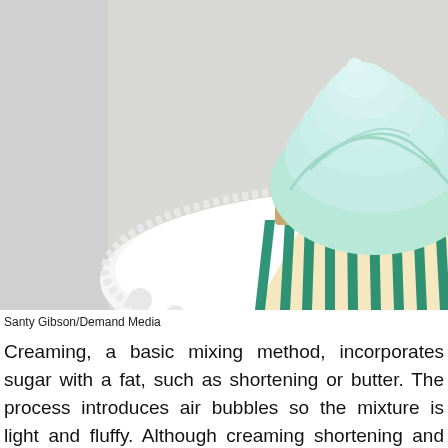[Figure (photo): A cupcake with light blue/mint frosting in a teal and cream striped cupcake liner, sitting on a white decorative doily plate, with a yellow striped fabric/napkin in the background.]
Santy Gibson/Demand Media
Creaming, a basic mixing method, incorporates sugar with a fat, such as shortening or butter. The process introduces air bubbles so the mixture is light and fluffy. Although creaming shortening and sugar together is a simple technique, it is a critical step for making delectable, light-textured cookies and cakes. Creaming shortening and sugar with an